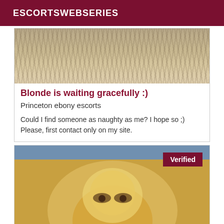ESCORTSWEBSERIES
[Figure (photo): Close-up photo of knees/legs wearing gray knitted socks or leg warmers]
Blonde is waiting gracefully :)
Princeton ebony escorts
Could I find someone as naughty as me? I hope so ;) Please, first contact only on my site.
[Figure (photo): Close-up photo of a blonde woman's face, with a 'Verified' badge in the top right corner]